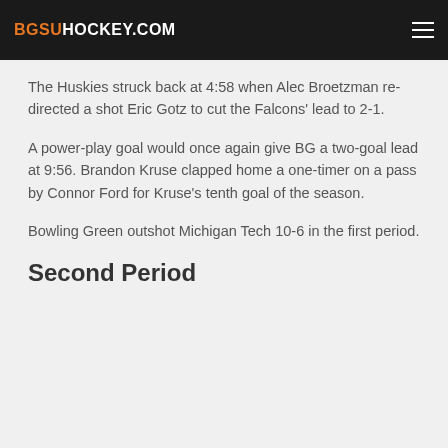BGSUHOCKEY.COM
The Huskies struck back at 4:58 when Alec Broetzman re-directed a shot Eric Gotz to cut the Falcons' lead to 2-1.
A power-play goal would once again give BG a two-goal lead at 9:56. Brandon Kruse clapped home a one-timer on a pass by Connor Ford for Kruse's tenth goal of the season.
Bowling Green outshot Michigan Tech 10-6 in the first period.
Second Period